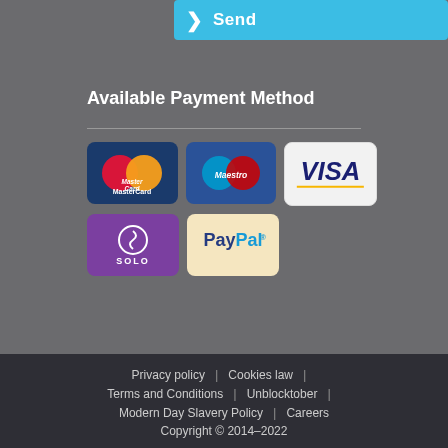[Figure (other): Blue Send button with right arrow chevron]
Available Payment Method
[Figure (infographic): Payment method icons: MasterCard, Maestro, Visa, Solo, PayPal]
Privacy policy | Cookies law | Terms and Conditions | Unblocktober | Modern Day Slavery Policy | Careers | Copyright © 2014–2022